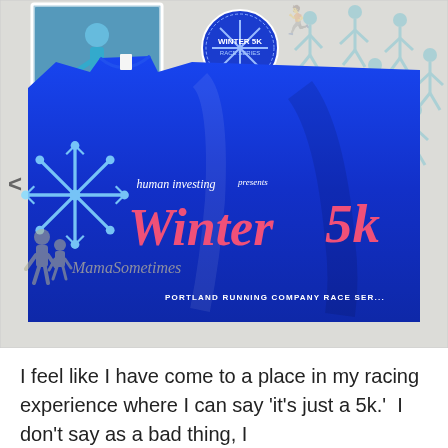[Figure (photo): A bright blue t-shirt for 'human investing presents Winter 5k - Portland Running Company Race Series' laid flat, along with a race bib showing number 68, a small race photo card, a Winter 5K badge/logo, and runner silhouette pattern in background. A watermark 'MamaSometimes' with a mother and child silhouette is overlaid on the shirt.]
I feel like I have come to a place in my racing experience where I can say 'it's just a 5k.'  I don't say as a bad thing, I